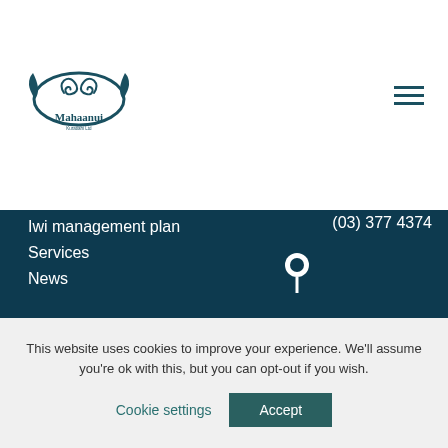[Figure (logo): Mahaanui Kuratiahi Ltd logo with stylized koru/wave design and text]
Iwi management plan
Services
News
(03) 377 4374
226 Antigua Street, Christchurch
Mahaanui.admin@ngaitahu.iwi.nz
Subscribe
This website uses cookies to improve your experience. We'll assume you're ok with this, but you can opt-out if you wish.
Cookie settings
Accept